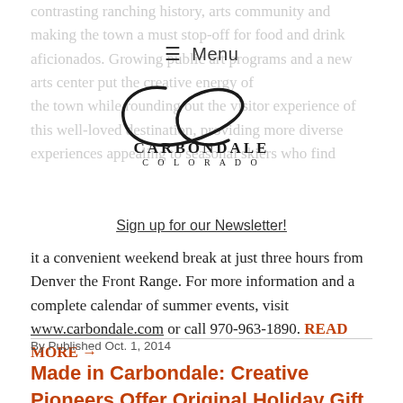contrasting ranching history, arts community and making the town a must stop-off for food and drink aficionados. Growing public art programs and a new arts center put the creative energy of the town while rounding out the visitor experience of this well-loved destination, providing more diverse experiences appealing to seasonal skiers who find it a convenient weekend break at just three hours from Denver the Front Range. For more information and a complete calendar of summer events, visit www.carbondale.com or call 970-963-1890. READ MORE →
≡ Menu
[Figure (logo): Carbondale Colorado logo — stylized cursive 'C' above the words CARBONDALE COLORADO in serif type]
Sign up for our Newsletter!
By Published Oct. 1, 2014
Made in Carbondale: Creative Pioneers Offer Original Holiday Gift Ideas from the Western Slopes of Colorado